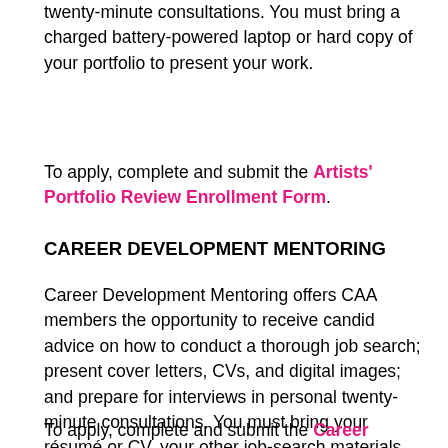twenty-minute consultations. You must bring a charged battery-powered laptop or hard copy of your portfolio to present your work.
To apply, complete and submit the Artists' Portfolio Review Enrollment Form.
CAREER DEVELOPMENT MENTORING
Career Development Mentoring offers CAA members the opportunity to receive candid advice on how to conduct a thorough job search; present cover letters, CVs, and digital images; and prepare for interviews in personal twenty-minute consultations. You must bring your résumé or CV, your other job-search materials, and your specific career goals to discuss during these appointments.
To apply, complete and submit the Career